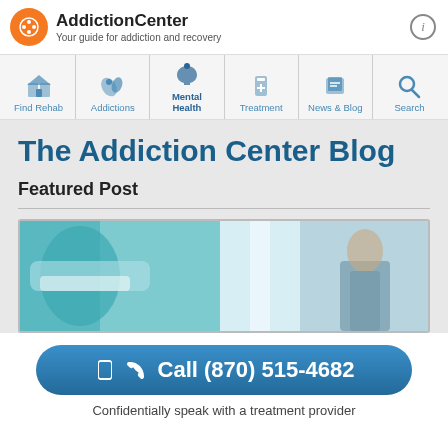AddictionCenter – Your guide for addiction and recovery
[Figure (screenshot): Navigation bar with icons: Find Rehab, Addictions, Mental Health, Treatment, News & Blog, Search]
The Addiction Center Blog
Featured Post
[Figure (photo): Hospital/medical setting photo showing a patient bed with teal equipment on the left and a person standing in scrubs on the right]
Call (870) 515-4682
Confidentially speak with a treatment provider